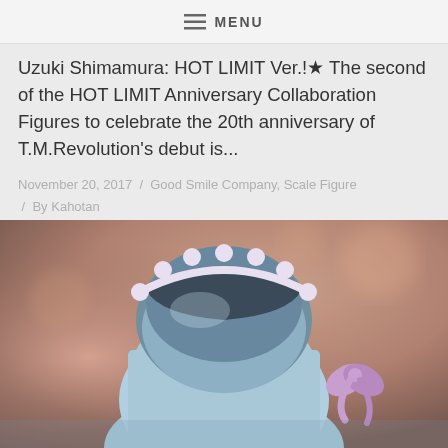MENU
Uzuki Shimamura: HOT LIMIT Ver.!★ The second of the HOT LIMIT Anniversary Collaboration Figures to celebrate the 20th anniversary of T.M.Revolution's debut is...
November 20, 2017  /  Good Smile Company, Scale Figure  /  By Kahotan
[Figure (photo): Close-up photo of the back of an anime-style scale figure with light blue hair wearing a white headband with small round ball decorations, against a blurred pinkish-brown background. A purple bow/ribbon accessory is visible on the right side.]